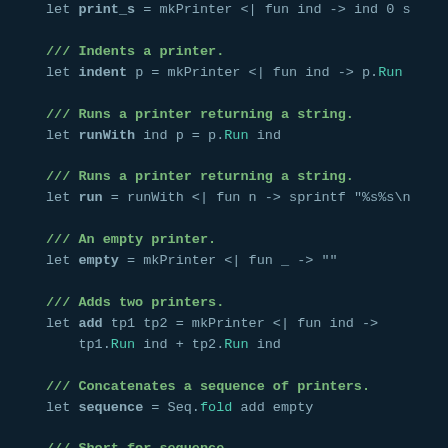let print_s = mkPrinter <| fun ind -> ind 0 s
/// Indents a printer.
let indent p = mkPrinter <| fun ind -> p.Run
/// Runs a printer returning a string.
let runWith ind p = p.Run ind
/// Runs a printer returning a string.
let run = runWith <| fun n -> sprintf "%s%s\n
/// An empty printer.
let empty = mkPrinter <| fun _ -> ""
/// Adds two printers.
let add tp1 tp2 = mkPrinter <| fun ind ->
    tp1.Run ind + tp2.Run ind
/// Concatenates a sequence of printers.
let sequence = Seq.fold add empty
/// Short for sequence.